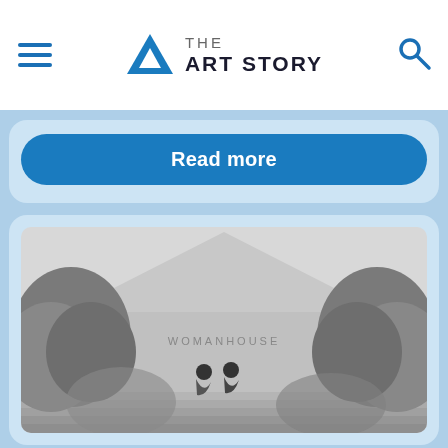THE ART STORY
Read more
[Figure (photo): Black and white photograph of the Womanhouse exterior with two women sitting on steps in front of the entrance, surrounded by bushes and trees. The word WOMANHOUSE is visible above them on the building facade.]